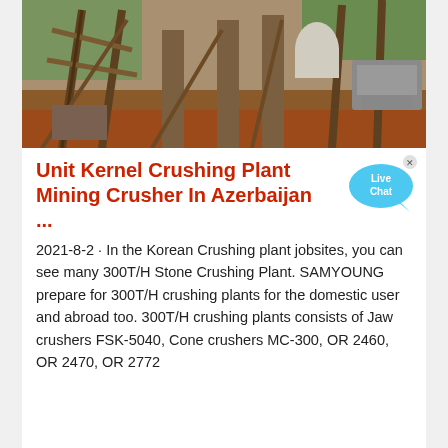[Figure (photo): Mining site with wooden scaffolding and timber support structures on red/brown earth, heavy machinery visible on the right side]
Unit Kernel Crushing Plant Mining Crusher In Azerbaijan ...
2021-8-2 · In the Korean Crushing plant jobsites, you can see many 300T/H Stone Crushing Plant. SAMYOUNG prepare for 300T/H crushing plants for the domestic user and abroad too. 300T/H crushing plants consists of Jaw crushers FSK-5040, Cone crushers MC-300, OR 2460, OR 2470, OR 2772